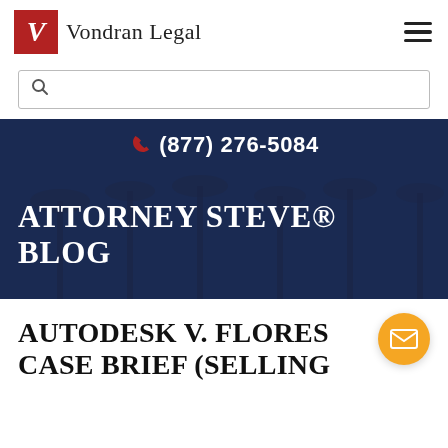Vondran Legal
[Figure (screenshot): Search bar with magnifying glass icon]
(877) 276-5084
ATTORNEY STEVE® BLOG
AUTODESK V. FLORES CASE BRIEF (SELLING